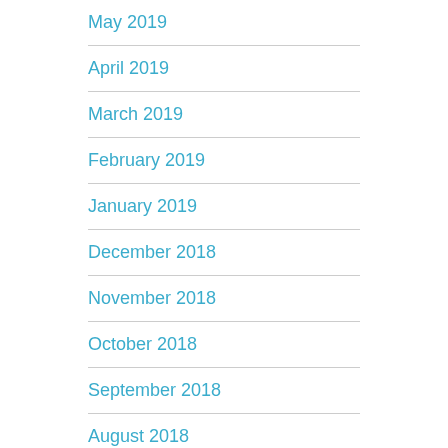May 2019
April 2019
March 2019
February 2019
January 2019
December 2018
November 2018
October 2018
September 2018
August 2018
July 2018